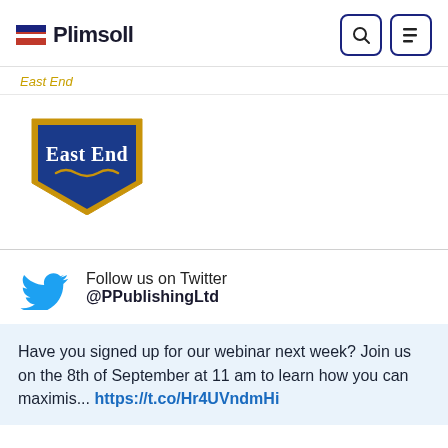Plimsoll
East End
[Figure (logo): East End brand logo: gold border shield shape with blue background and 'East End' text in white serif font with gold wave decoration]
Follow us on Twitter @PPublishingLtd
Have you signed up for our webinar next week? Join us on the 8th of September at 11 am to learn how you can maximis... https://t.co/Hr4UVndmHi